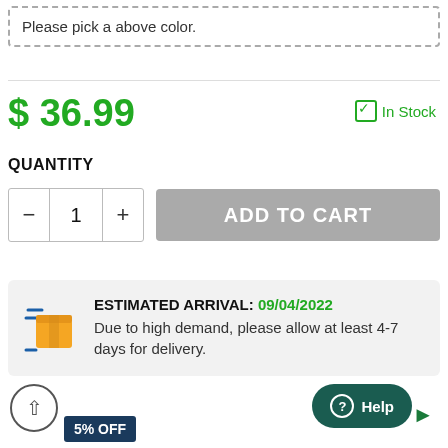Please pick a above color.
$ 36.99
☑ In Stock
QUANTITY
- 1 + ADD TO CART
ESTIMATED ARRIVAL: 09/04/2022 Due to high demand, please allow at least 4-7 days for delivery.
5% OFF
Help
BUY?